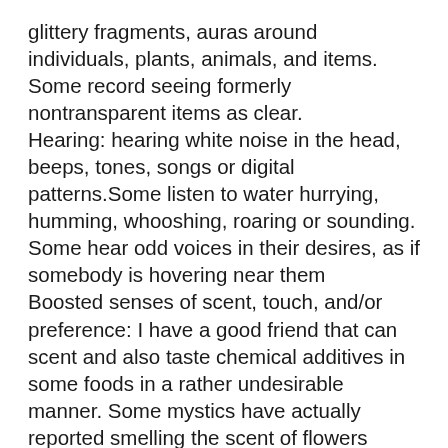glittery fragments, auras around individuals, plants, animals, and items. Some record seeing formerly nontransparent items as clear.
Hearing: hearing white noise in the head, beeps, tones, songs or digital patterns.Some listen to water hurrying, humming, whooshing, roaring or sounding. Some hear odd voices in their desires, as if somebody is hovering near them
Boosted senses of scent, touch, and/or preference: I have a good friend that can scent and also taste chemical additives in some foods in a rather undesirable manner. Some mystics have actually reported smelling the scent of flowers every now and then (this sounds instead pleasurable).